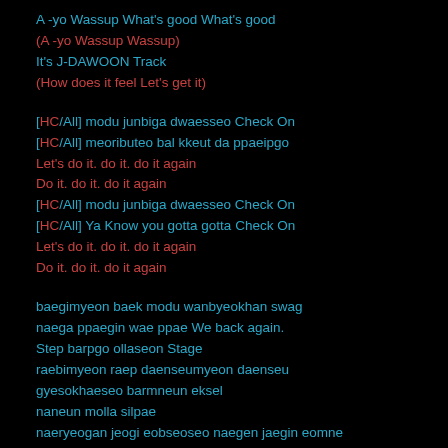A -yo Wassup What's good What's good
(A -yo Wassup Wassup)
It's J-DAWOON Track
(How does it feel Let's get it)
[HC/All] modu junbiga dwaesseo Check On
[HC/All] meoributeo bal kkeut da ppaeipgo
Let's do it. do it. do it again
Do it. do it. do it again
[HC/All] modu junbiga dwaesseo Check On
[HC/All] Ya Know you gotta gotta Check On
Let's do it. do it. do it again
Do it. do it. do it again
baegimyeon baek modu wanbyeokhan swag
naega ppaegin wae ppae We back again.
Step barpgo ollaseon Stage
raebimyeon raep daenseumyeon daenseu
gyesokhaeseo barmneun eksel
naneun molla silpae
naeryeogan jeogi eobseoseo naegen jaegin eomne
paegiro gyesok naganeun B.A.Pneun Fresh